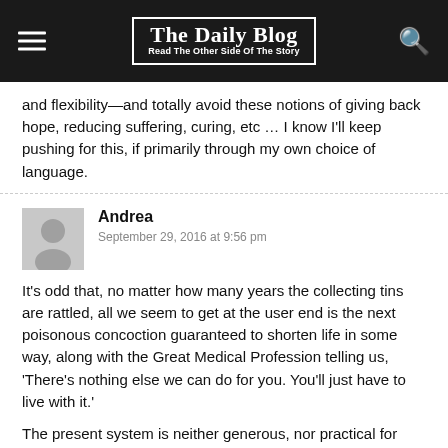The Daily Blog — Read The Other Side Of The Story
and flexibility—and totally avoid these notions of giving back hope, reducing suffering, curing, etc … I know I'll keep pushing for this, if primarily through my own choice of language.
Andrea
September 29, 2016 at 9:56 pm
It's odd that, no matter how many years the collecting tins are rattled, all we seem to get at the user end is the next poisonous concoction guaranteed to shorten life in some way, along with the Great Medical Profession telling us, 'There's nothing else we can do for you. You'll just have to live with it.'
The present system is neither generous, nor practical for most of us in the differently abled world.